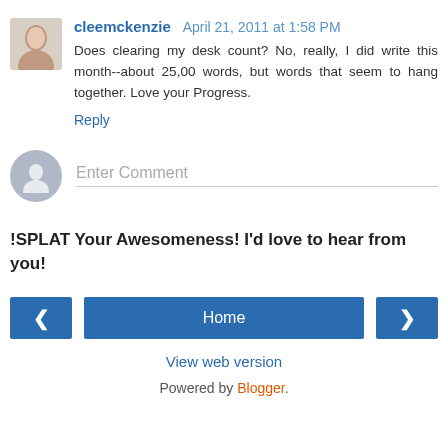cleemckenzie  April 21, 2011 at 1:58 PM
Does clearing my desk count? No, really, I did write this month--about 25,00 words, but words that seem to hang together. Love your Progress.
Reply
Enter Comment
!SPLAT Your Awesomeness! I'd love to hear from you!
Home
View web version
Powered by Blogger.